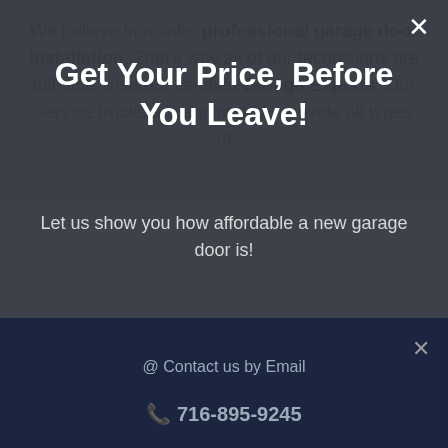We believe in a safe, professional garage door installation. That's why all of our technicians are full-time, insured, certified Garaga Experts. Our service trucks are equipped to provide all types of
Get Your Price, Before You Leave!
Let us show you how affordable a new garage door is!
Get a Price!
@ Contact us by Email
716-895-9245